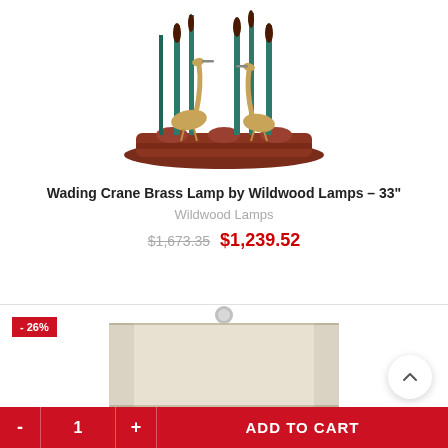[Figure (photo): Product photo of a Wading Crane Brass Lamp by Wildwood Lamps, showing bronze crane birds among teal cattail reeds on a mahogany-colored bamboo base]
Wading Crane Brass Lamp by Wildwood Lamps – 33"
Wildwood Lamps
$1,673.35 $1,239.52
[Figure (photo): Partial product photo of a second lamp showing a cream/ivory cylindrical drum shade with a silver finial on top]
- 26%
ADD TO CART